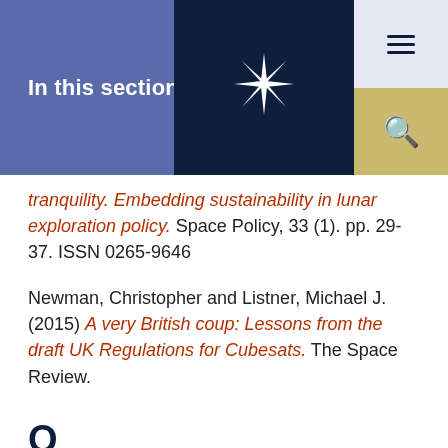In this section...
tranquility. Embedding sustainability in lunar exploration policy. Space Policy, 33 (1). pp. 29-37. ISSN 0265-9646
Newman, Christopher and Listner, Michael J. (2015) A very British coup: Lessons from the draft UK Regulations for Cubesats. The Space Review.
Q
Quaid, Sheila, Hugman, Catriona and Wilcock, Angela (2021) Introduction: Negotiating Families and Personal Lives in the 21st Century. In: